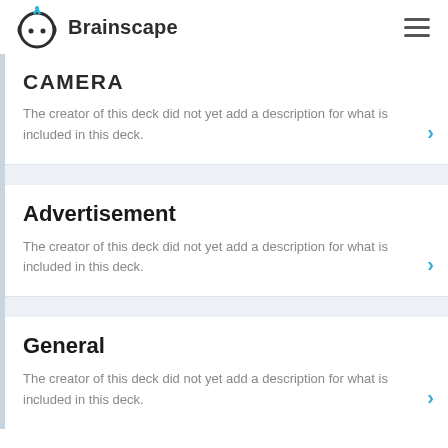Brainscape
CAMERA
The creator of this deck did not yet add a description for what is included in this deck.
Advertisement
The creator of this deck did not yet add a description for what is included in this deck.
General
The creator of this deck did not yet add a description for what is included in this deck.